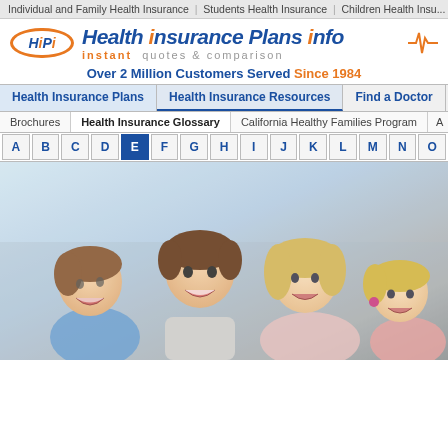Individual and Family Health Insurance | Students Health Insurance | Children Health Insurance
[Figure (logo): HiPi Health Insurance Plans Info logo with orange oval and blue stylized text, tagline: instant quotes & comparison]
Over 2 Million Customers Served Since 1984
Health Insurance Plans | Health Insurance Resources | Find a Doctor | Tr...
Brochures | Health Insurance Glossary | California Healthy Families Program | A...
A B C D E F G H I J K L M N O
[Figure (photo): Happy family photo showing a father, mother, and two young children smiling together in a bright indoor setting]